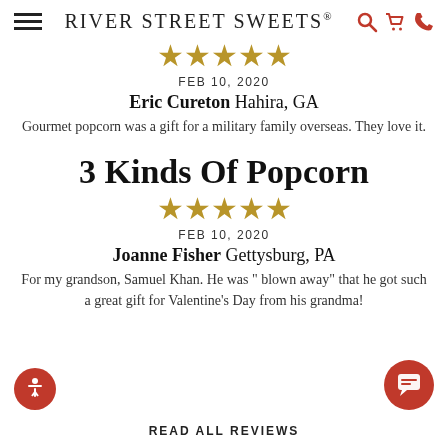RIVER STREET SWEETS®
[Figure (other): Five gold star rating]
FEB 10, 2020
Eric Cureton Hahira, GA
Gourmet popcorn was a gift for a military family overseas. They love it.
3 Kinds Of Popcorn
[Figure (other): Five gold star rating]
FEB 10, 2020
Joanne Fisher Gettysburg, PA
For my grandson, Samuel Khan. He was " blown away" that he got such a great gift for Valentine's Day from his grandma!
READ ALL REVIEWS